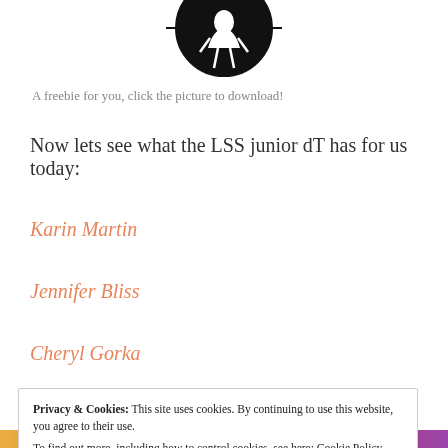[Figure (illustration): Partial top of page showing circular logo with silhouette illustration in black and white, and partial text in salmon/teal color partially visible at top edge]
A freebie for you, click the picture to download!
Now lets see what the LSS junior dT has for us today:
Karin Martin
Jennifer Bliss
Cheryl Gorka
Privacy & Cookies: This site uses cookies. By continuing to use this website, you agree to their use.
To find out more, including how to control cookies, see here: Cookie Policy
Close and accept